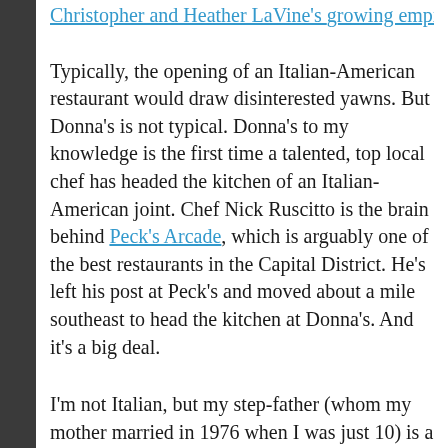Christopher and Heather LaVine's growing empire.
Typically, the opening of an Italian-American restaurant would draw disinterested yawns. But Donna's is not typical. Donna's to my knowledge is the first time a talented, top local chef has headed the kitchen of an Italian-American joint. Chef Nick Ruscitto is the brain behind Peck's Arcade, which is arguably one of the best restaurants in the Capital District. He's left his post at Peck's and moved about a mile southeast to head the kitchen at Donna's. And it's a big deal.
I'm not Italian, but my step-father (whom my mother married in 1976 when I was just 10) is a first generation Italian, a stowaway on a boat, arriving in America after the war. My wife is half Italian, her